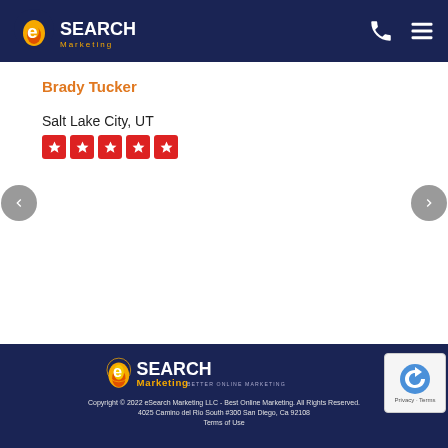eSearch Marketing - Better Online Marketing
Brady Tucker
Salt Lake City, UT
[Figure (other): Five red star rating boxes]
[Figure (logo): eSearch Marketing logo with flame and 'Better Online Marketing' tagline in footer]
Copyright © 2022 eSearch Marketing LLC - Best Online Marketing. All Rights Reserved.
4025 Camino del Rio South #300 San Diego, Ca 92108
Terms of Use